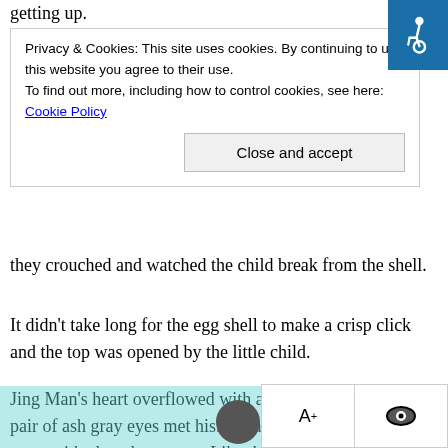getting up.
[Figure (screenshot): Privacy & Cookies banner with close button]
they crouched and watched the child break from the shell.
It didn't take long for the egg shell to make a crisp click and the top was opened by the little child.
Jing Man's heart overflowed with anticipation, and soon a pair of ash gray eyes met his. It was a very beautiful pair of eyes, with clear, hazy eyes. Like the thick snow of a polar winter day, and like the residual ash that hovers in the air when the leaves were burned.
“It’s my younger brother!” After seeing clearly what it was, Xiao Jin rubbed his sleepy eyes, his little paws holding the stroller, and let out a cry of surprise.